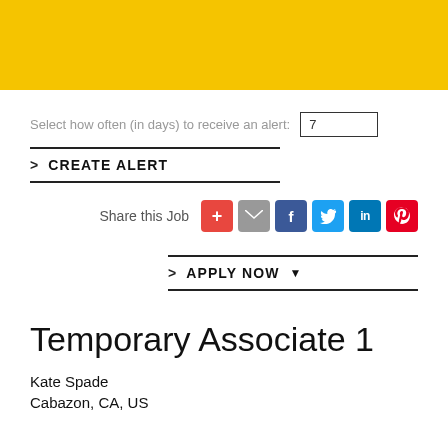[Figure (other): Yellow banner header bar]
Select how often (in days) to receive an alert: 7
> CREATE ALERT
Share this Job
> APPLY NOW ▼
Temporary Associate 1
Kate Spade
Cabazon, CA, US